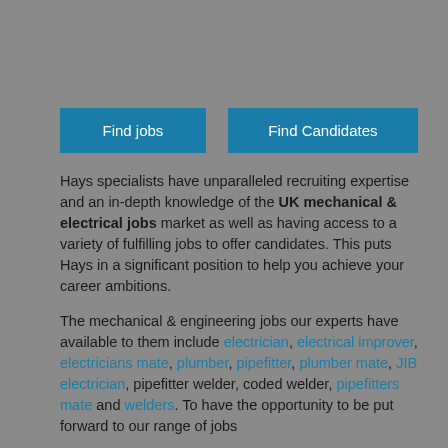[Figure (other): Two blue call-to-action buttons: 'Find jobs' and 'Find Candidates']
Hays specialists have unparalleled recruiting expertise and an in-depth knowledge of the UK mechanical & electrical jobs market as well as having access to a variety of fulfilling jobs to offer candidates. This puts Hays in a significant position to help you achieve your career ambitions.
The mechanical & engineering jobs our experts have available to them include electrician, electrical improver, electricians mate, plumber, pipefitter, plumber mate, JIB electrician, pipefitter welder, coded welder, pipefitters mate and welders. To have the opportunity to be put forward to our range of jobs